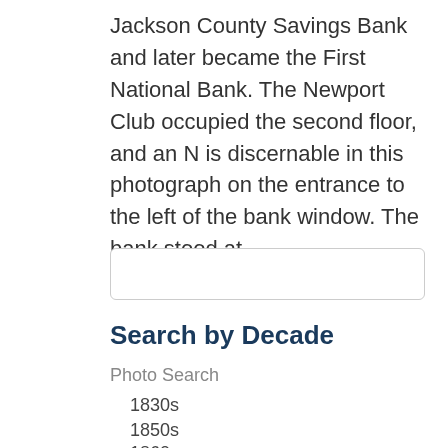Jackson County Savings Bank and later became the First National Bank.  The Newport Club occupied the second floor, and an N is discernable in this photograph on the entrance to the left of the bank window.  The bank stood at…
[Figure (other): Search input box / text field (empty)]
Search by Decade
Photo Search
1830s
1850s
1860s